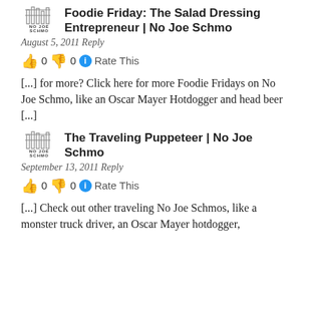Foodie Friday: The Salad Dressing Entrepreneur | No Joe Schmo
August 5, 2011 Reply
👍 0 👎 0 ℹ Rate This
[...] for more? Click here for more Foodie Fridays on No Joe Schmo, like an Oscar Mayer Hotdogger and head beer [...]
The Traveling Puppeteer | No Joe Schmo
September 13, 2011 Reply
👍 0 👎 0 ℹ Rate This
[...] Check out other traveling No Joe Schmos, like a monster truck driver, an Oscar Mayer hotdogger,